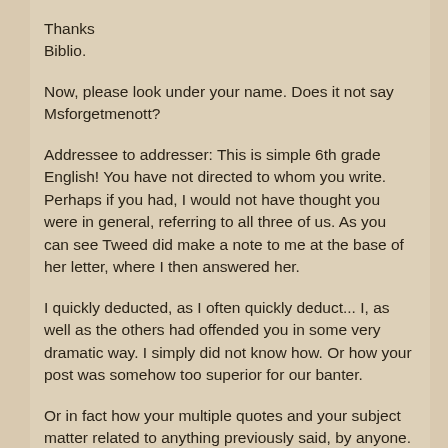Thanks
Biblio.
Now, please look under your name. Does it not say Msforgetmenott?
Addressee to addresser: This is simple 6th grade English! You have not directed to whom you write. Perhaps if you had, I would not have thought you were in general, referring to all three of us. As you can see Tweed did make a note to me at the base of her letter, where I then answered her.
I quickly deducted, as I often quickly deduct... I, as well as the others had offended you in some very dramatic way. I simply did not know how. Or how your post was somehow too superior for our banter.
Or in fact how your multiple quotes and your subject matter related to anything previously said, by anyone. I did clearly see that I and the others had set you off somehow.
As usual, Biblio, you left me in the dust, just as you do most of